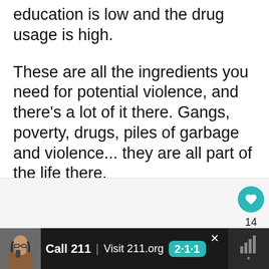education is low and the drug usage is high.
These are all the ingredients you need for potential violence, and there’s a lot of it there. Gangs, poverty, drugs, piles of garbage and violence... they are all part of the life there.
[Figure (screenshot): White gray box region with teal heart button (14 likes) and teal share button on right side]
[Figure (infographic): Black advertisement bar at bottom: person on phone, Call 211 | Visit 211.org with 2-1-1 teal badge, close X button, weather icon on right]